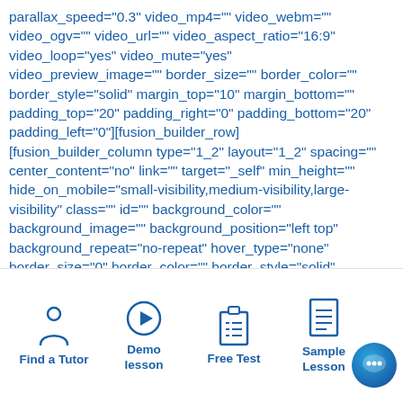parallax_speed="0.3" video_mp4="" video_webm="" video_ogv="" video_url="" video_aspect_ratio="16:9" video_loop="yes" video_mute="yes" video_preview_image="" border_size="" border_color="" border_style="solid" margin_top="10" margin_bottom="" padding_top="20" padding_right="0" padding_bottom="20" padding_left="0"][fusion_builder_row] [fusion_builder_column type="1_2" layout="1_2" spacing="" center_content="no" link="" target="_self" min_height="" hide_on_mobile="small-visibility,medium-visibility,large-visibility" class="" id="" background_color="" background_image="" background_position="left top" background_repeat="no-repeat" hover_type="none" border_size="0" border_color="" border_style="solid" border_position="all" padding_top="" padding_right="" padding_bottom="" padding_left="" dimension_margin=""
Find a Tutor | Demo lesson | Free Test | Sample Lesson